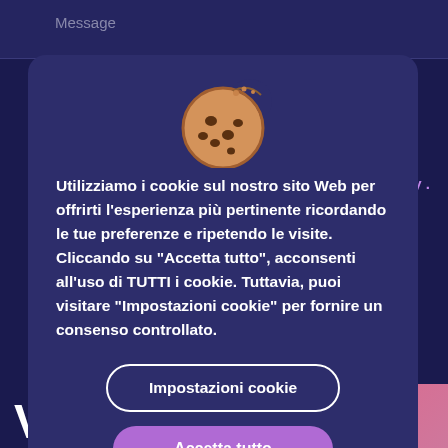Message
[Figure (illustration): Cookie emoji illustration — a round chocolate chip cookie with a bite taken out]
Utilizziamo i cookie sul nostro sito Web per offrirti l'esperienza più pertinente ricordando le tue preferenze e ripetendo le visite. Cliccando su "Accetta tutto", acconsenti all'uso di TUTTI i cookie. Tuttavia, puoi visitare "Impostazioni cookie" per fornire un consenso controllato.
olicy .
Impostazioni cookie
Accetta tutto
🇬🇧 English